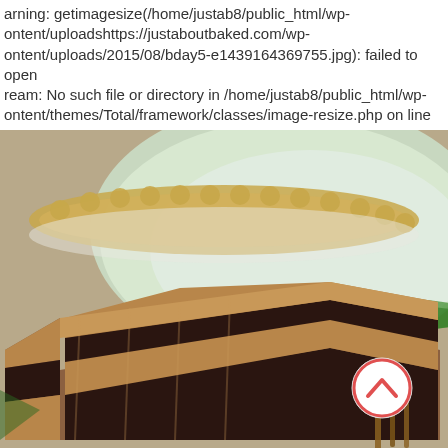Warning: getimagesize(/home/justab8/public_html/wp-content/uploadshttps://justaboutbaked.com/wp-content/uploads/2015/08/bday5-e1439164369755.jpg): failed to open stream: No such file or directory in /home/justab8/public_html/wp-content/themes/Total/framework/classes/image-resize.php on line 21
[Figure (photo): Close-up photo of a slice of chocolate layer cake with mocha/coffee buttercream frosting on a plate, with a green bowl visible in the background and a fork partly visible at the bottom right. A red circle back-to-top arrow button is overlaid in the bottom right of the image.]